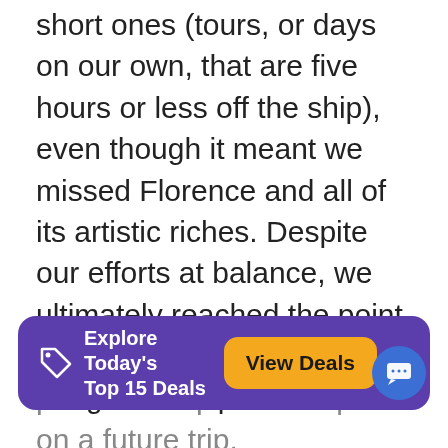short ones (tours, or days on our own, that are five hours or less off the ship), even though it meant we missed Florence and all of its artistic riches. Despite our efforts at balance, we ultimately reached the point where all we wanted was to hang out in a park or cafe.
Despite a few jam-packed days, we found a family Mediterranean cruise brought history and language alive for us all, and it expanded [partially visible] cially [favorite] [places to explore in depth on a future] trip.
[Figure (infographic): Purple banner overlay with tag icon, text 'Explore Today's Top 15 Deals', an orange 'View Deals' button, and an X close button. A blue circular chat icon appears to the right.]